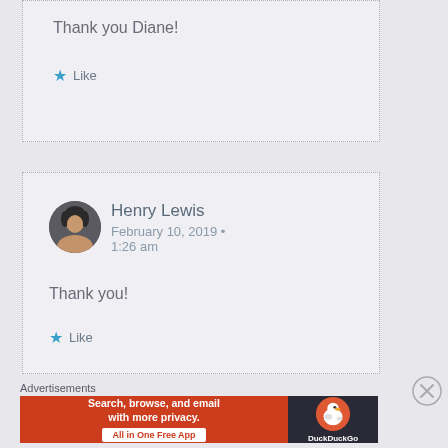Thank you Diane!
★ Like
[Figure (photo): Profile photo of Henry Lewis, a man with dark hair]
Henry Lewis
February 10, 2019 • 1:26 am
Thank you!
★ Like
Advertisements
[Figure (screenshot): DuckDuckGo advertisement banner: Search, browse, and email with more privacy. All in One Free App]